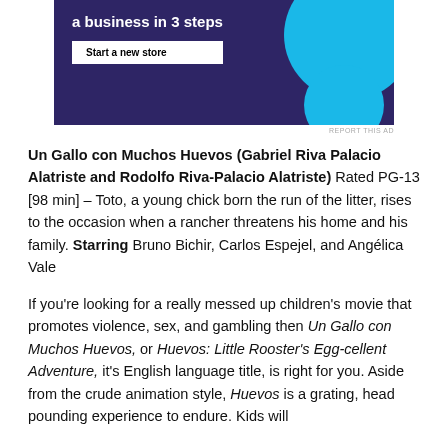[Figure (illustration): Advertisement banner with dark purple background, white text partially visible at top reading 'a business in 3 steps', a white button labeled 'Start a new store', and a cyan/light blue circle graphic on the right side.]
REPORT THIS AD
Un Gallo con Muchos Huevos (Gabriel Riva Palacio Alatriste and Rodolfo Riva-Palacio Alatriste) Rated PG-13 [98 min] – Toto, a young chick born the run of the litter, rises to the occasion when a rancher threatens his home and his family. Starring Bruno Bichir, Carlos Espejel, and Angélica Vale
If you're looking for a really messed up children's movie that promotes violence, sex, and gambling then Un Gallo con Muchos Huevos, or Huevos: Little Rooster's Egg-cellent Adventure, it's English language title, is right for you. Aside from the crude animation style, Huevos is a grating, head pounding experience to endure. Kids will